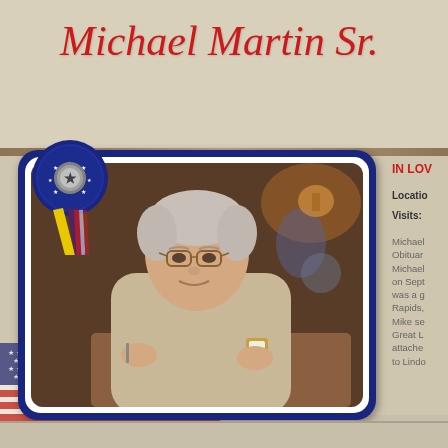Michael Martin Sr.
[Figure (photo): Portrait photo of Michael Martin Sr., an older white-haired man wearing glasses and a beige polo shirt, holding a plate with a pastry topped with whipped cream and strawberries. A patriotic ribbon badge (blue/yellow/American flag ribbon) is overlaid on the upper left of the photo frame, set in a navy blue rounded frame.]
IN LOV
Location:
Visits:
Michael Obituary Michael on Sept was a g Rapids, Mike se Great L attache to Lind